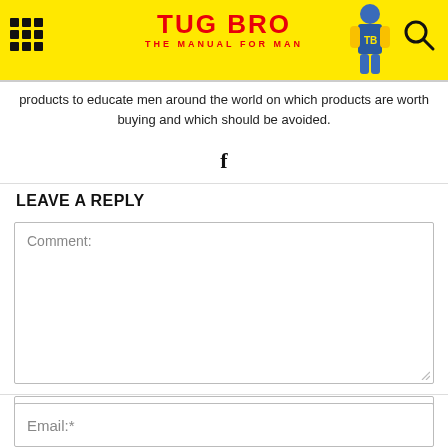TUG BRO THE MANUAL FOR MAN
products to educate men around the world on which products are worth buying and which should be avoided.
f
LEAVE A REPLY
Comment:
Name:*
Email:*